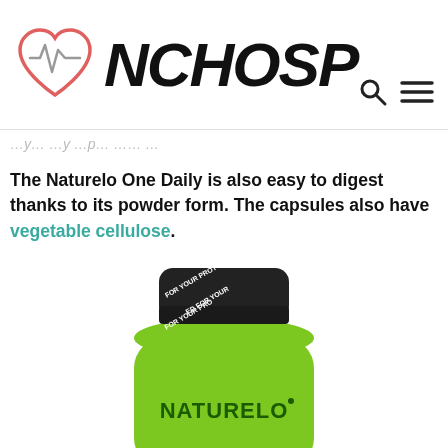NCHOSP
The Naturelo One Daily is also easy to digest thanks to its powder form. The capsules also have vegetable cellulose.
[Figure (photo): A green Naturelo supplement bottle with a black tamper-evident seal around the cap, showing text 'NATURELO' on the bottle label.]